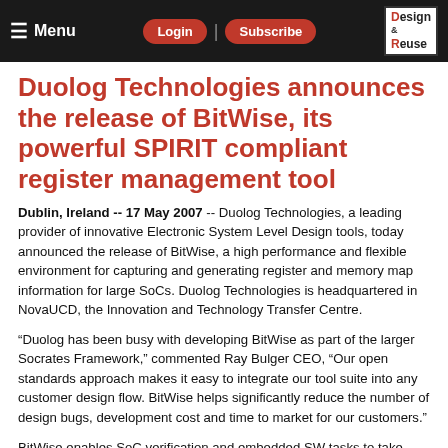Menu | Login | Subscribe | Design & Reuse
Duolog Technologies announces the release of BitWise, its powerful SPIRIT compliant register management tool
Dublin, Ireland -- 17 May 2007 -- Duolog Technologies, a leading provider of innovative Electronic System Level Design tools, today announced the release of BitWise, a high performance and flexible environment for capturing and generating register and memory map information for large SoCs. Duolog Technologies is headquartered in NovaUCD, the Innovation and Technology Transfer Centre.
“Duolog has been busy with developing BitWise as part of the larger Socrates Framework,” commented Ray Bulger CEO, “Our open standards approach makes it easy to integrate our tool suite into any customer design flow. BitWise helps significantly reduce the number of design bugs, development cost and time to market for our customers.”
BitWise enables SoC verification and embedded SW tasks to take place concurrently. It provides SW engineers with an auto generated programmer’s manual that is in sync with the HW at all stages of the SoC development. The programmer’s manual contains all register and memory map information for the SoC. In addition, BitWise also provides automatically generated test cases for the SoC verification and